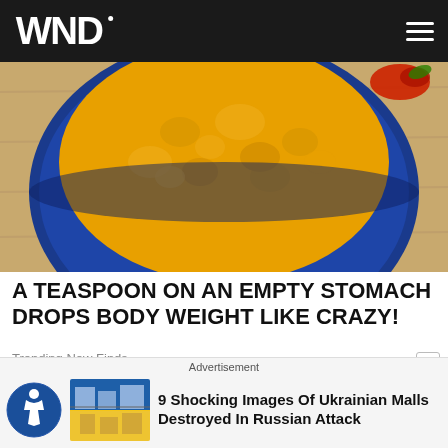WND
[Figure (photo): Overhead view of a blue bowl filled with yellow turmeric powder on a wooden surface]
A TEASPOON ON AN EMPTY STOMACH DROPS BODY WEIGHT LIKE CRAZY!
Trending New Finds
[Figure (illustration): Cartoon illustration of a young man lying on a couch at night with a clock showing 01:37 on a side table]
Advertisement
[Figure (photo): Thumbnail images showing damaged Ukrainian mall buildings]
9 Shocking Images Of Ukrainian Malls Destroyed In Russian Attack